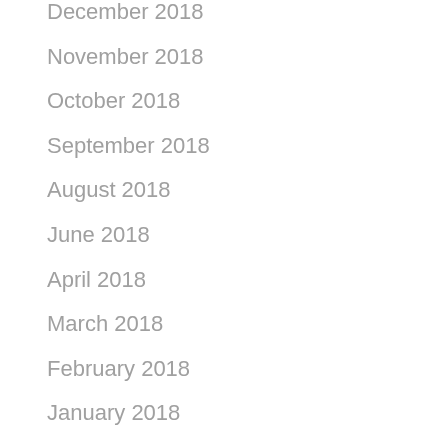December 2018
November 2018
October 2018
September 2018
August 2018
June 2018
April 2018
March 2018
February 2018
January 2018
December 2017
November 2017
October 2017
September 2017
July 2017